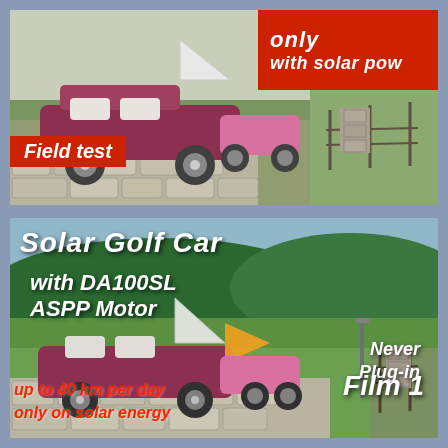[Figure (photo): Top panel: Photo of a maroon/pink solar golf car with white solar panel sail on a stone path. Red box upper right reads 'only / with solar pow'. Red label lower left reads 'Field test'.]
[Figure (photo): Bottom panel: Photo of a similar solar golf car on a green golf course. Text overlay: 'Solar Golf Car / with DA100SL / ASPP Motor', 'Never Plug-in', 'Film 1', 'up to 40 km per day / only on solar energy'.]